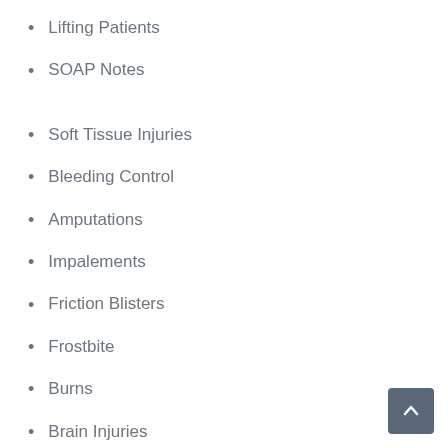Lifting Patients
SOAP Notes
Soft Tissue Injuries
Bleeding Control
Amputations
Impalements
Friction Blisters
Frostbite
Burns
Brain Injuries
Lightning Injuries